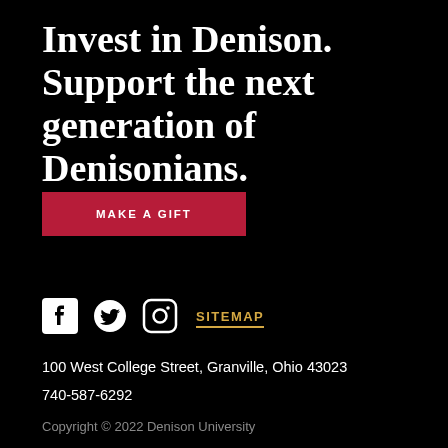Invest in Denison. Support the next generation of Denisonians.
MAKE A GIFT
[Figure (other): Social media icons: Facebook, Twitter, Instagram, followed by SITEMAP link]
100 West College Street, Granville, Ohio 43023
740-587-6292
Copyright © 2022 Denison University